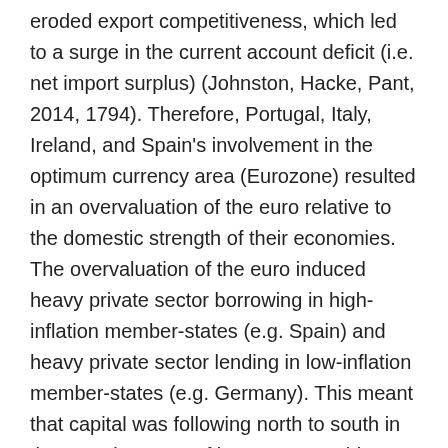eroded export competitiveness, which led to a surge in the current account deficit (i.e. net import surplus) (Johnston, Hacke, Pant, 2014, 1794). Therefore, Portugal, Italy, Ireland, and Spain's involvement in the optimum currency area (Eurozone) resulted in an overvaluation of the euro relative to the domestic strength of their economies. The overvaluation of the euro induced heavy private sector borrowing in high-inflation member-states (e.g. Spain) and heavy private sector lending in low-inflation member-states (e.g. Germany). This meant that capital was following north to south in the EMU because of interest rate arbitrage in the financial/private sector. Interest rate arbitrage in the financial sector implied that the sovereign debt crisis was not the result of reckless fiscal spending but was the result of private sector mismanagement, which turned into a sovereign debt crisis once the financial institutions were “bailed-out” (Johnston, Hacke, Pant, 2014, 1794). Failure of the EMU to adequately